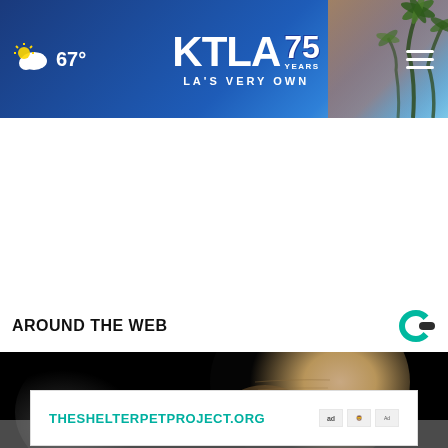[Figure (screenshot): KTLA 75 Years - LA's Very Own navigation header bar with weather (67°), KTLA 75 Years logo centered, and hamburger menu icon. Blue gradient background with palm tree imagery on right side.]
AROUND THE WEB
[Figure (photo): Close-up photograph of a bald man's face against a dark background, partially obscured.]
[Figure (screenshot): Advertisement banner: THESHELTERPETPROJECT.ORG with ad council and partner logos]